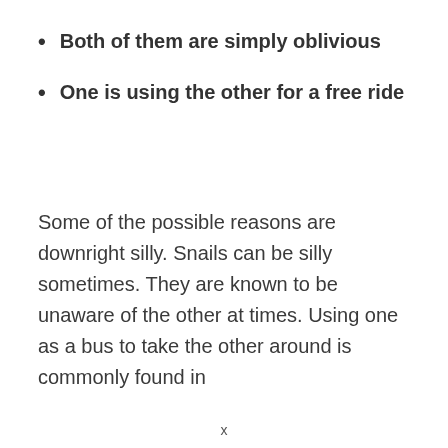Both of them are simply oblivious
One is using the other for a free ride
Some of the possible reasons are downright silly. Snails can be silly sometimes. They are known to be unaware of the other at times. Using one as a bus to take the other around is commonly found in